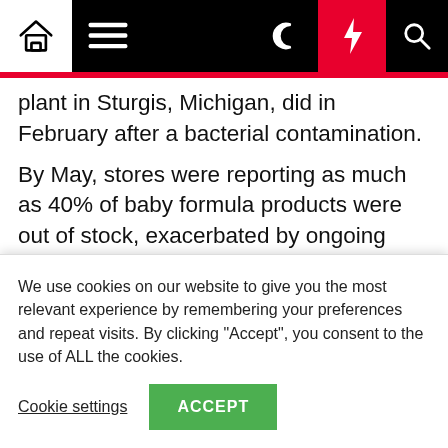Navigation bar with home, menu, moon, lightning, and search icons
plant in Sturgis, Michigan, did in February after a bacterial contamination. By May, stores were reporting as much as 40% of baby formula products were out of stock, exacerbated by ongoing supply chain slowdowns and formula product recalls.
Abbott, Reckett Benkiser and Nestle produce the United States' top five formula brands — Enfamil, Similac, Gerber, PediaSure and Isomil — according to
We use cookies on our website to give you the most relevant experience by remembering your preferences and repeat visits. By clicking "Accept", you consent to the use of ALL the cookies.
Cookie settings | ACCEPT